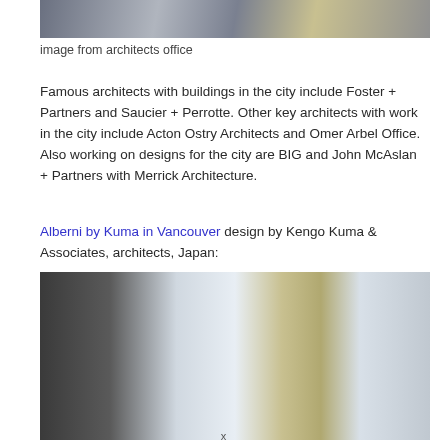[Figure (photo): Top portion of a city street photo, partially cropped at the top of the page]
image from architects office
Famous architects with buildings in the city include Foster + Partners and Saucier + Perrotte. Other key architects with work in the city include Acton Ostry Architects and Omer Arbel Office. Also working on designs for the city are BIG and John McAslan + Partners with Merrick Architecture.
Alberni by Kuma in Vancouver design by Kengo Kuma & Associates, architects, Japan:
[Figure (photo): Architectural rendering or photo of the Alberni by Kuma building in Vancouver, showing a tall glass tower with distinctive wooden/natural facade elements alongside other urban buildings, in a desaturated/monochrome style]
x